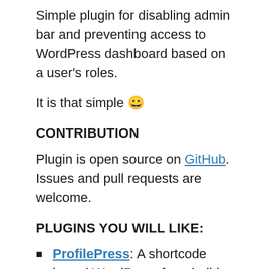Simple plugin for disabling admin bar and preventing access to WordPress dashboard based on a user's roles.
It is that simple 😀
CONTRIBUTION
Plugin is open source on GitHub. Issues and pull requests are welcome.
PLUGINS YOU WILL LIKE:
ProfilePress: A shortcode based WordPress form builder that makes building custom login, registration and password reset forms stupidly simple. More info here
MailOptin – The best WordPress email optin forms, email automation & newsletters plugin in